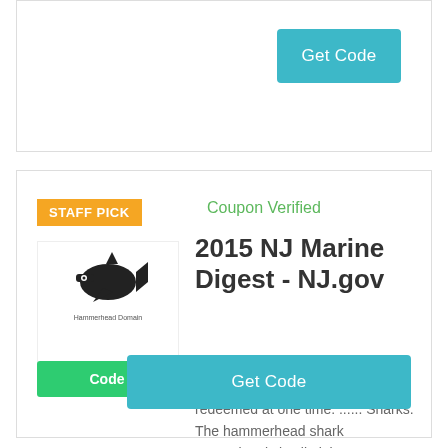[Figure (other): Top card partial view with a teal Get Code button]
Get Code
[Figure (logo): Hammerhead shark logo with text Hammerhead Domain]
STAFF PICK
Coupon Verified
2015 NJ Marine Digest - NJ.gov
May 17, 2015 - sales tax. Total amount of coupon must be redeemed at one time. ...... Sharks. The hammerhead shark recreational size limit is .... Registration.
Code
Get Code